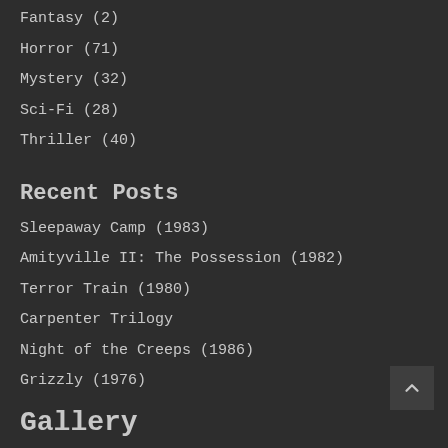Fantasy (2)
Horror (71)
Mystery (32)
Sci-Fi (28)
Thriller (40)
Recent Posts
Sleepaway Camp (1983)
Amityville II: The Possession (1982)
Terror Train (1980)
Carpenter Trilogy
Night of the Creeps (1986)
Grizzly (1976)
Gallery